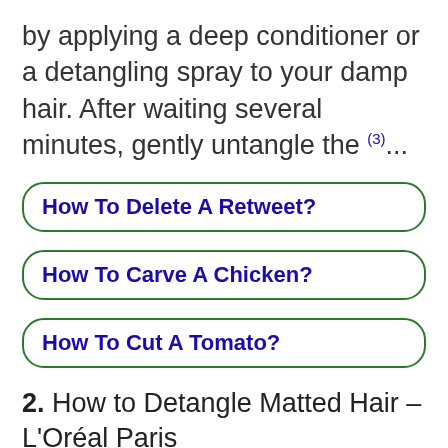by applying a deep conditioner or a detangling spray to your damp hair. After waiting several minutes, gently untangle the (3)...
How To Delete A Retweet?
How To Carve A Chicken?
How To Cut A Tomato?
2. How to Detangle Matted Hair – L'Oréal Paris
All Hair Types · 1. DETANGLE YOUR HAIR